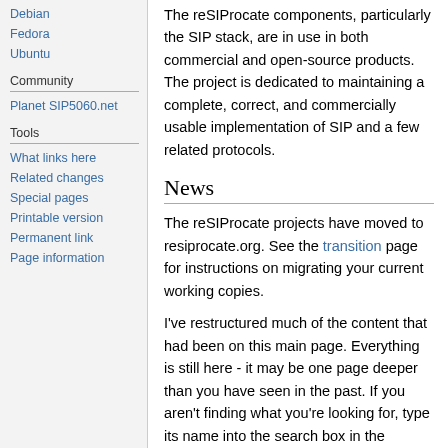Debian
Fedora
Ubuntu
Community
Planet SIP5060.net
Tools
What links here
Related changes
Special pages
Printable version
Permanent link
Page information
The reSIProcate components, particularly the SIP stack, are in use in both commercial and open-source products. The project is dedicated to maintaining a complete, correct, and commercially usable implementation of SIP and a few related protocols.
News
The reSIProcate projects have moved to resiprocate.org. See the transition page for instructions on migrating your current working copies.
I've restructured much of the content that had been on this main page. Everything is still here - it may be one page deeper than you have seen in the past. If you aren't finding what you're looking for, type its name into the search box in the